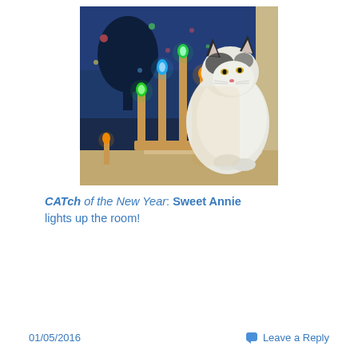[Figure (photo): A fluffy white and grey cat sitting on a windowsill next to a wooden menorah with colorful glowing candle lights (green, blue, orange) against a dark blue twilight window background with bokeh lights outside.]
CATch of the New Year: Sweet Annie lights up the room!
01/05/2016   Leave a Reply